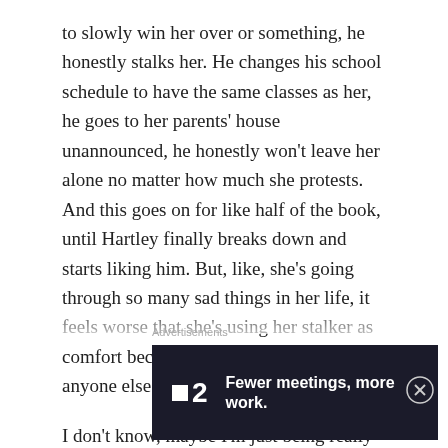to slowly win her over or something, he honestly stalks her. He changes his school schedule to have the same classes as her, he goes to her parents' house unannounced, he honestly won't leave her alone no matter how much she protests. And this goes on for like half of the book, until Hartley finally breaks down and starts liking him. But, like, she's going through so many sad things in her life, it feels worse that she's using her stalker as comfort because she honestly doesn't have anyone else.
I don't know, maybe I'm just being really sensitive because I know how it feels to tell a guy no and for them to turn around and refuse to listen. Plus, it feels so bad being romanticized, especially because Foster was my…
Advertisements
[Figure (other): Advertisement banner with dark background showing a small white square icon, the number 2, and the text 'Fewer meetings, more work.' in white bold font on a dark navy background.]